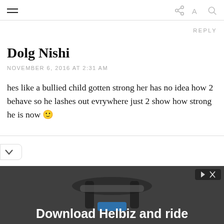REPLY
Dolg Nishi
NOVEMBER 6, 2016 AT 2:31 AM
hes like a bullied child gotten strong her has no idea how 2 behave so he lashes out evrywhere just 2 show how strong he is now 🙂
[Figure (screenshot): Advertisement banner showing 'Download Helbiz and ride' with a scooter handlebar image in the background]